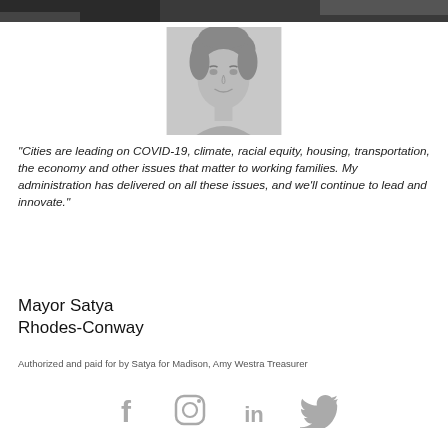[Figure (photo): Top banner with dark/black and white partial photo of people or a scene]
[Figure (photo): Black and white headshot portrait of Mayor Satya Rhodes-Conway, a middle-aged woman with short light hair, smiling]
“Cities are leading on COVID-19, climate, racial equity, housing, transportation, the economy and other issues that matter to working families. My administration has delivered on all these issues, and we’ll continue to lead and innovate.”
Mayor Satya Rhodes-Conway
Authorized and paid for by Satya for Madison, Amy Westra Treasurer
[Figure (illustration): Row of four social media icons: Facebook (f), Instagram (camera), LinkedIn (in), Twitter (bird) — all in grey]